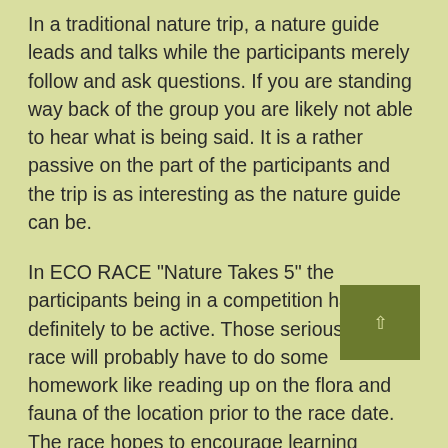In a traditional nature trip, a nature guide leads and talks while the participants merely follow and ask questions. If you are standing way back of the group you are likely not able to hear what is being said. It is a rather passive on the part of the participants and the trip is as interesting as the nature guide can be.
In ECO RACE "Nature Takes 5" the participants being in a competition have definitely to be active. Those serious in the race will probably have to do some homework like reading up on the flora and fauna of the location prior to the race date. The race hopes to encourage learning through self-discovery rather than being instructed most time.
The fact that modern IT equipment like